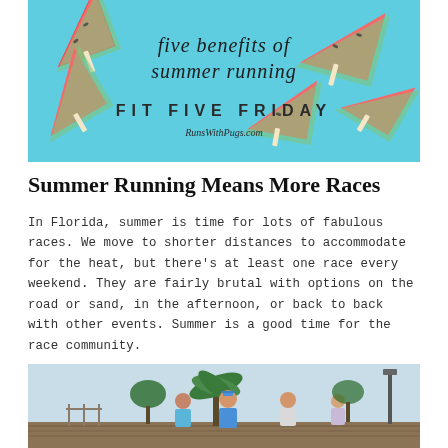[Figure (photo): Blog header image with watermelon slices on a light blue background, with cursive text 'five benefits of summer running', bold text 'FIT FIVE FRIDAY', and website 'RunsWithPugs.com']
Summer Running Means More Races
In Florida, summer is time for lots of fabulous races. We move to shorter distances to accommodate for the heat, but there's at least one race every weekend. They are fairly brutal with options on the road or sand, in the afternoon, or back to back with other events. Summer is a good time for the race community.
[Figure (photo): Outdoor photo of runners at a summer race event, with palm trees and a boardwalk in the background. Runners wearing blue athletic gear.]